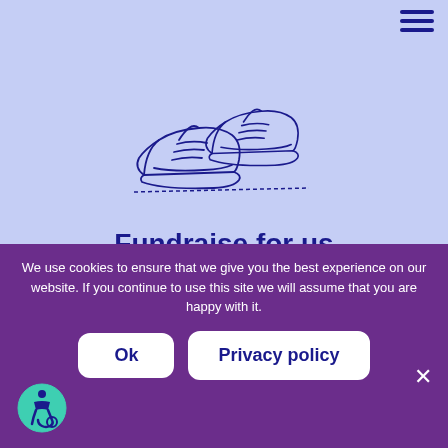[Figure (illustration): Hand-drawn sketch of a pair of sneakers/running shoes in dark blue outline on a light blue background]
Fundraise for us
Your fundraising efforts and donations are very important to us; they will ensure that we can continue providing essential mental health
We use cookies to ensure that we give you the best experience on our website. If you continue to use this site we will assume that you are happy with it.
Ok
Privacy policy